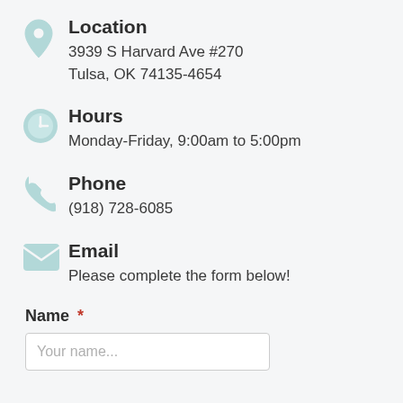Location
3939 S Harvard Ave #270
Tulsa, OK 74135-4654
Hours
Monday-Friday, 9:00am to 5:00pm
Phone
(918) 728-6085
Email
Please complete the form below!
Name *
Your name...